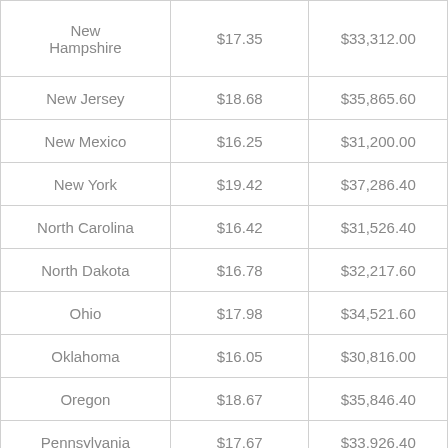| New Hampshire | $17.35 | $33,312.00 |
| New Jersey | $18.68 | $35,865.60 |
| New Mexico | $16.25 | $31,200.00 |
| New York | $19.42 | $37,286.40 |
| North Carolina | $16.42 | $31,526.40 |
| North Dakota | $16.78 | $32,217.60 |
| Ohio | $17.98 | $34,521.60 |
| Oklahoma | $16.05 | $30,816.00 |
| Oregon | $18.67 | $35,846.40 |
| Pennsylvania | $17.67 | $33,926.40 |